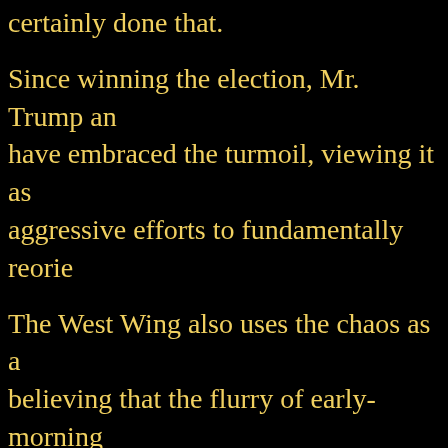certainly done that.
Since winning the election, Mr. Trump and have embraced the turmoil, viewing it as aggressive efforts to fundamentally reorie
The West Wing also uses the chaos as a believing that the flurry of early-morning p controversial statements during the afterm surprise executive actions work to keep the the media and others off balance.
[Figure (photo): A photograph showing a person in a suit waving (appears to be at a building entrance), with other figures visible in the background and foreground.]